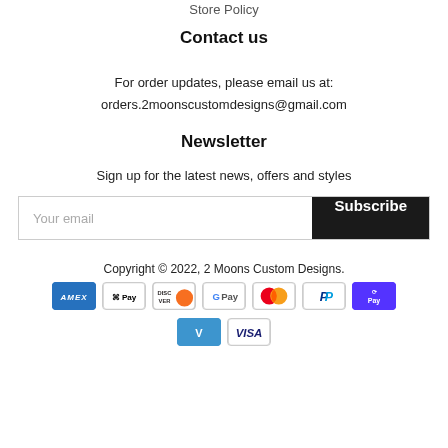Store Policy
Contact us
For order updates, please email us at:
orders.2moonscustomdesigns@gmail.com
Newsletter
Sign up for the latest news, offers and styles
Your email | Subscribe
Copyright © 2022, 2 Moons Custom Designs.
[Figure (other): Payment method icons: American Express, Apple Pay, Discover, Google Pay, Mastercard, PayPal, Shop Pay, Venmo, Visa]